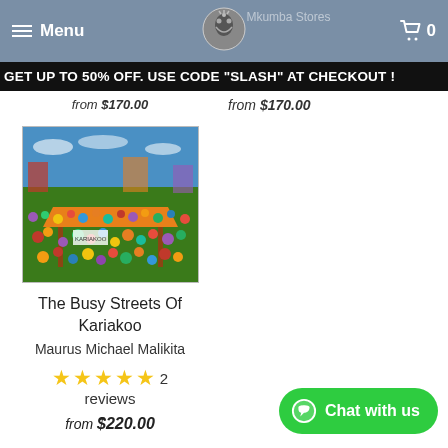Menu | Mkumba Stores | Cart 0
GET UP TO 50% OFF. USE CODE "SLASH" AT CHECKOUT !
from $170.00
from $170.00
[Figure (photo): Colorful painting of a busy African market scene (Kariakoo street market) with many people, stalls, and vibrant colors]
The Busy Streets Of Kariakoo
Maurus Michael Malikita
★★★★★ 2 reviews
from $220.00